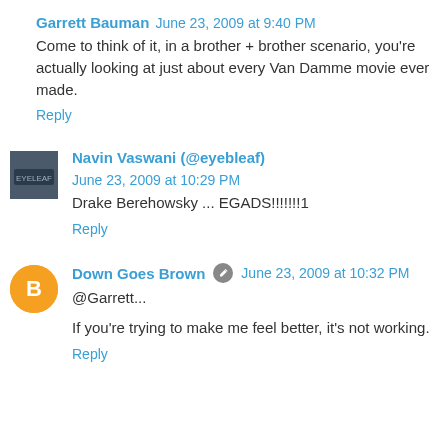Garrett Bauman   June 23, 2009 at 9:40 PM
Come to think of it, in a brother + brother scenario, you're actually looking at just about every Van Damme movie ever made.
Reply
Navin Vaswani (@eyebleaf)   June 23, 2009 at 10:29 PM
Drake Berehowsky ... EGADS!!!!!!!1
Reply
Down Goes Brown   June 23, 2009 at 10:32 PM
@Garrett...
If you're trying to make me feel better, it's not working.
Reply